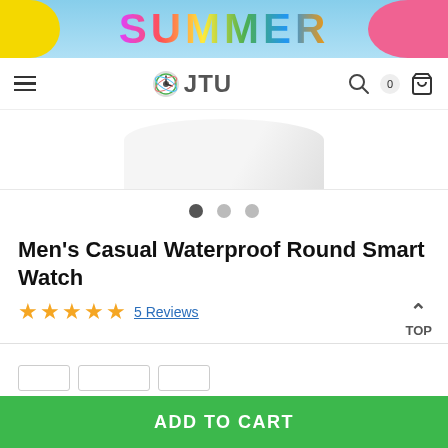[Figure (illustration): Summer promotional banner with colorful 'SUMMER' text in multicolor, yellow inflatable ring on left, pink inflatable on right, light blue wave background]
JTU — navigation bar with hamburger menu, logo, search icon, cart (0)
[Figure (photo): Partial product image of a round smartwatch in white/silver, cropped at top]
• • •  (carousel dots, first active)
Men's Casual Waterproof Round Smart Watch
★★★★★½ 5 Reviews
ADD TO CART